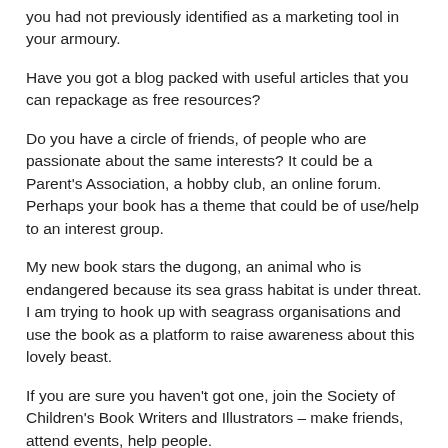you had not previously identified as a marketing tool in your armoury.
Have you got a blog packed with useful articles that you can repackage as free resources?
Do you have a circle of friends, of people who are passionate about the same interests? It could be a Parent's Association, a hobby club, an online forum. Perhaps your book has a theme that could be of use/help to an interest group.
My new book stars the dugong, an animal who is endangered because its sea grass habitat is under threat. I am trying to hook up with seagrass organisations and use the book as a platform to raise awareness about this lovely beast.
If you are sure you haven't got one, join the Society of Children's Book Writers and Illustrators – make friends, attend events, help people.